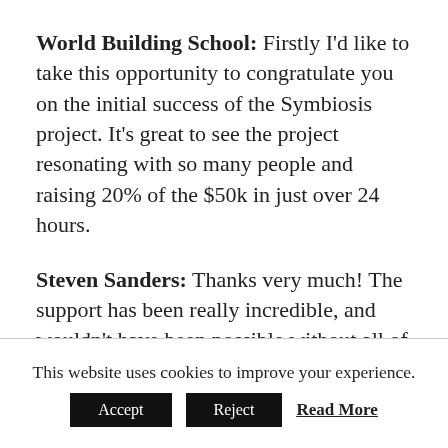World Building School: Firstly I'd like to take this opportunity to congratulate you on the initial success of the Symbiosis project. It's great to see the project resonating with so many people and raising 20% of the $50k in just over 24 hours.
Steven Sanders: Thanks very much! The support has been really incredible, and wouldn't have been possible without all of the great people out there who were willing to help pitch in.
This website uses cookies to improve your experience.